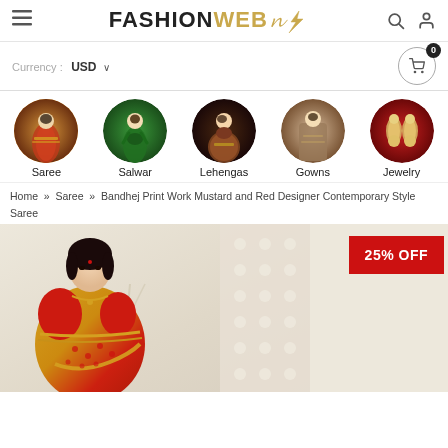FASHIONWEB (logo with lightning bolt)
Currency: USD ▾
[Figure (illustration): Five circular category thumbnails: Saree (woman in red saree), Salwar (woman in green salwar), Lehengas (woman in bridal lehenga), Gowns (woman in gown), Jewelry (gold earrings on red fabric)]
Saree   Salwar   Lehengas   Gowns   Jewelry
Home » Saree » Bandhej Print Work Mustard and Red Designer Contemporary Style Saree
[Figure (photo): Woman wearing a mustard and red designer Bandhej print saree with gold border, standing against a cream background with decorative branches. A red badge shows 25% OFF in the upper right.]